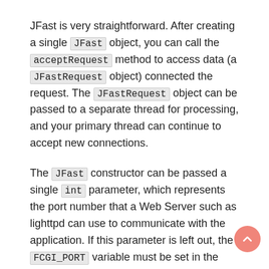JFast is very straightforward. After creating a single JFast object, you can call the acceptRequest method to access data (a JFastRequest object) connected the request. The JFastRequest object can be passed to a separate thread for processing, and your primary thread can continue to accept new connections.
The JFast constructor can be passed a single int parameter, which represents the port number that a Web Server such as lighttpd can use to communicate with the application. If this parameter is left out, the FCGI_PORT variable must be set in the program's environment.
The following fields/methods of JFastRequest are of interest: